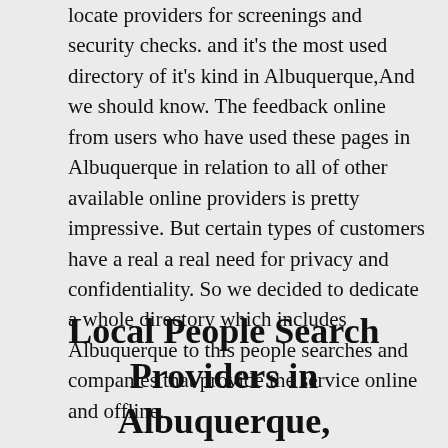locate providers for screenings and security checks. and it's the most used directory of it's kind in Albuquerque,And we should know. The feedback online from users who have used these pages in Albuquerque in relation to all of other available online providers is pretty impressive. But certain types of customers have a real a real need for privacy and confidentiality. So we decided to dedicate a whole directory which includes Albuquerque to this people searches and companies that provide the service online and offline.
Local People Search Providers in Albuquerque,